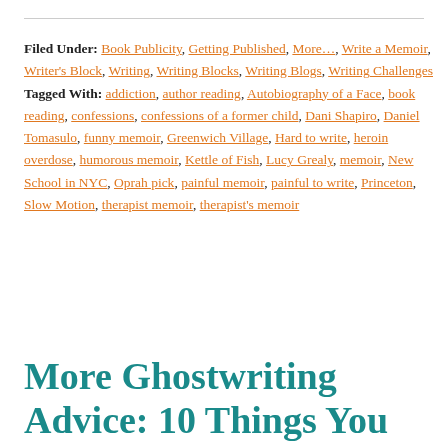Filed Under: Book Publicity, Getting Published, More..., Write a Memoir, Writer's Block, Writing, Writing Blocks, Writing Blogs, Writing Challenges Tagged With: addiction, author reading, Autobiography of a Face, book reading, confessions, confessions of a former child, Dani Shapiro, Daniel Tomasulo, funny memoir, Greenwich Village, Hard to write, heroin overdose, humorous memoir, Kettle of Fish, Lucy Grealy, memoir, New School in NYC, Oprah pick, painful memoir, painful to write, Princeton, Slow Motion, therapist memoir, therapist's memoir
More Ghostwriting Advice: 10 Things You